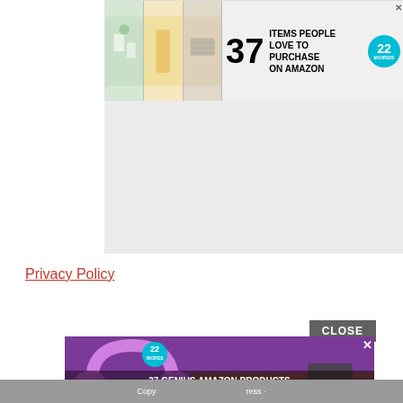[Figure (advertisement): Advertisement banner: '37 ITEMS PEOPLE LOVE TO PURCHASE ON AMAZON' with 22 Words badge and lifestyle photos]
Privacy Policy
[Figure (advertisement): Overlay ad showing purple headphones: '37 GENIUS AMAZON PRODUCTS THAT CAN BE USED BY ANYONE' with 22 Words badge and close X button]
Copy ... ress ·